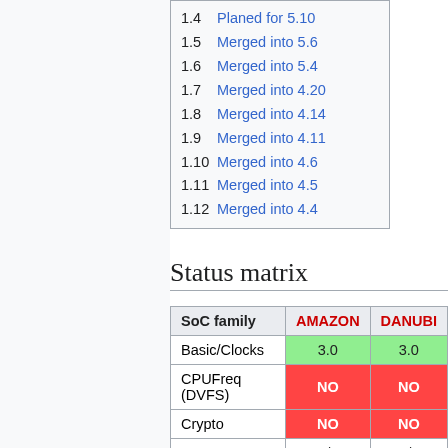1.4  Planed for 5.10
1.5  Merged into 5.6
1.6  Merged into 5.4
1.7  Merged into 4.20
1.8  Merged into 4.14
1.9  Merged into 4.11
1.10  Merged into 4.6
1.11  Merged into 4.5
1.12  Merged into 4.4
Status matrix
| SoC family | AMAZON | DANUBE |
| --- | --- | --- |
| Basic/Clocks | 3.0 | 3.0 |
| CPUFreq (DVFS) | NO | NO |
| Crypto | NO | NO |
| DCDC | N/A | N/A |
| DMA | 3.0 | 3.0 |